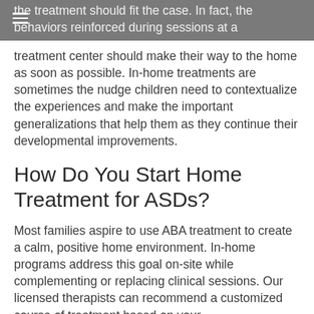the treatment should fit the case. In fact, the behaviors reinforced during sessions at a
treatment center should make their way to the home as soon as possible. In-home treatments are sometimes the nudge children need to contextualize the experiences and make the important generalizations that help them as they continue their developmental improvements.
How Do You Start Home Treatment for ASDs?
Most families aspire to use ABA treatment to create a calm, positive home environment. In-home programs address this goal on-site while complementing or replacing clinical sessions. Our licensed therapists can recommend a customized course of treatment based on your